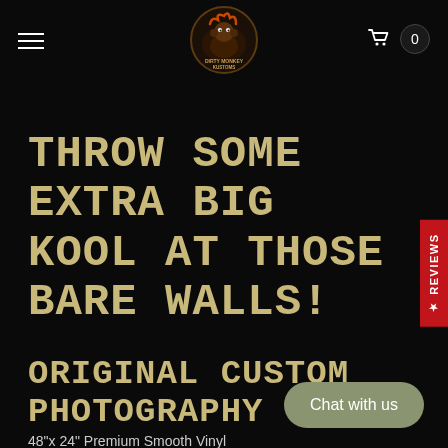Dirty Monkey Kustoms — navigation bar with hamburger menu, logo, and cart (0)
THROW SOME EXTRA BIG KOOL AT THOSE BARE WALLS!
ORIGINAL CUSTOM PHOTOGRAPHY
48"x 24" Premium Smooth Vinyl
[Figure (logo): Dirty Monkey Kustoms logo — circular badge with illustrated monkey character and brand name]